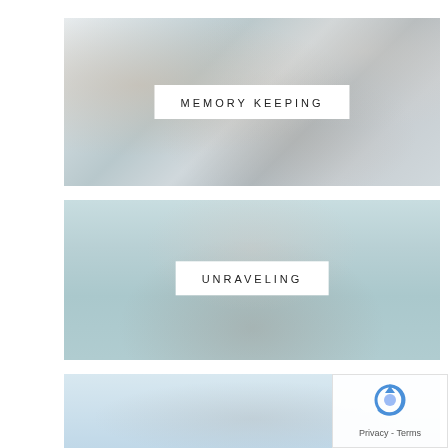[Figure (photo): Scrapbook memory keeping supplies - binders, decorative stickers, cards, and craft items on a table. White label overlay with text MEMORY KEEPING.]
[Figure (photo): Light blue background with a hand holding a pink flower and dark green leaves. White label overlay with text UNRAVELING.]
[Figure (photo): Partial image of blue sky with clouds and what appears to be a tower or landmark. Bottom portion of the page only.]
[Figure (other): reCAPTCHA privacy badge overlay in bottom right corner showing spinner icon and Privacy/Terms text.]